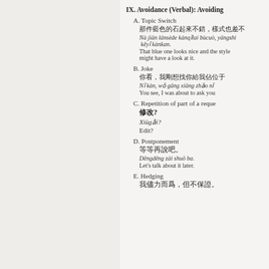IX. Avoidance (Verbal): Avoiding
A. Topic Switch
那件藍色的石起來不錯，樣式也差不
Nà jiān lánsède kànqǐlai bùcuò, yāngshì… kěyǐ kànkan.
That blue one looks nice and the style might have a look at it.
B. Joke
你看，我剛想找你給我佔位于
Nǐ kàn, wǒ gāng xiāng zhǎo nǐ…
You see, I was about to ask you
C. Repetition of part of a reque
修改?
Xiūgǎi?
Edit?
D. Postponement
等等再說吧。
Děngděng zài shuō ba.
Let's talk about it later.
E. Hedging
我儘力而爲，但不保證。